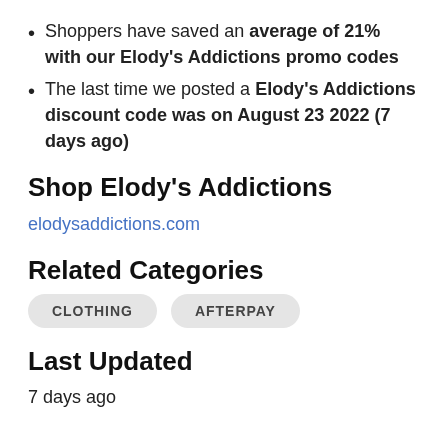Shoppers have saved an average of 21% with our Elody's Addictions promo codes
The last time we posted a Elody's Addictions discount code was on August 23 2022 (7 days ago)
Shop Elody's Addictions
elodysaddictions.com
Related Categories
CLOTHING
AFTERPAY
Last Updated
7 days ago